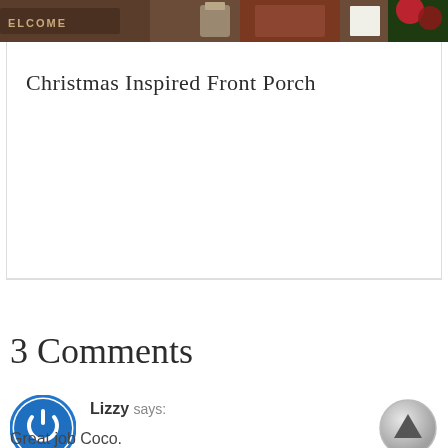[Figure (photo): Partial photo of a Christmas front porch with a welcome mat, candles, and poinsettia plants visible at the top of the page]
Christmas Inspired Front Porch
3 Comments
Lizzy says:
Great job Coco.